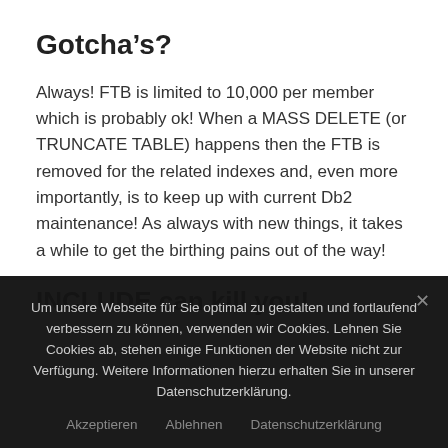Gotcha’s?
Always! FTB is limited to 10,000 per member which is probably ok! When a MASS DELETE (or TRUNCATE TABLE) happens then the FTB is removed for the related indexes and, even more importantly, is to keep up with current Db2 maintenance! As always with new things, it takes a while to get the birthing pains out of the way!
INCLUDE can kill you!
Um unsere Webseite für Sie optimal zu gestalten und fortlaufend verbessern zu können, verwenden wir Cookies. Lehnen Sie Cookies ab, stehen einige Funktionen der Website nicht zur Verfügung. Weitere Informationen hierzu erhalten Sie in unserer Datenschutzerklärung.
Akzeptieren   Ablehnen   Datenschutzerklärung